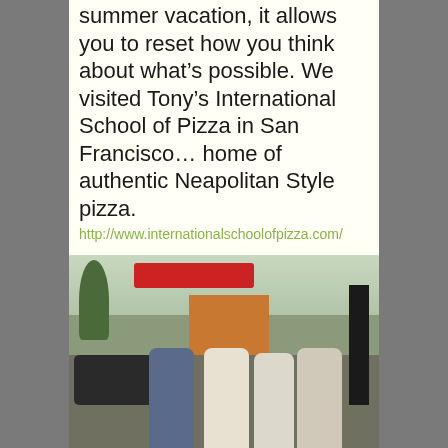summer vacation, it allows you to reset how you think about what’s possible. We visited Tony’s International School of Pizza in San Francisco… home of authentic Neapolitan Style pizza. http://www.internationalschoolofpizza.com/
[Figure (photo): A group of four people standing outside on a city street in San Francisco, with parked cars, trees, and a building with an orange awning visible in the background.]